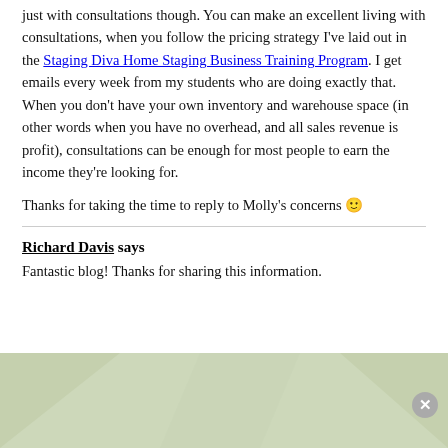just with consultations though. You can make an excellent living with consultations, when you follow the pricing strategy I've laid out in the Staging Diva Home Staging Business Training Program. I get emails every week from my students who are doing exactly that. When you don't have your own inventory and warehouse space (in other words when you have no overhead, and all sales revenue is profit), consultations can be enough for most people to earn the income they're looking for.
Thanks for taking the time to reply to Molly's concerns 🙂
Richard Davis says
Fantastic blog! Thanks for sharing this information.
[Figure (infographic): Banner advertisement with light green geometric background. Green text: 'Do You Have the Eye of a Stager?' Blue rounded button: 'Take Our Staging Quiz!' and a close (x) button in the corner.]